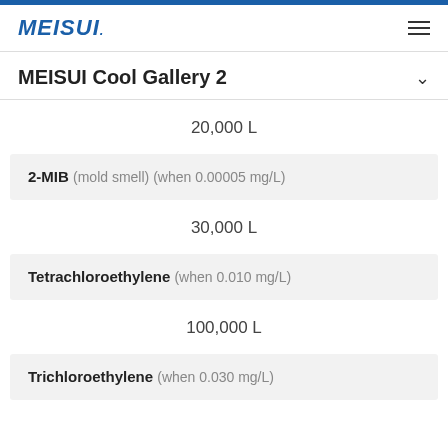MEISUI.
MEISUI Cool Gallery 2
20,000 L
2-MIB (mold smell) (when 0.00005 mg/L)
30,000 L
Tetrachloroethylene (when 0.010 mg/L)
100,000 L
Trichloroethylene (when 0.030 mg/L)